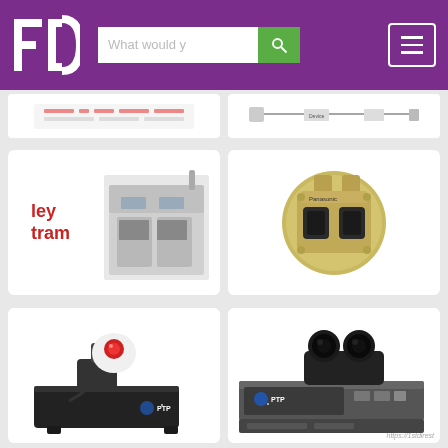[Figure (screenshot): Website header with FD logo in purple, search bar with 'What would y' placeholder text, green search button, and hamburger menu icon]
[Figure (photo): Partial product card showing industrial equipment diagram]
[Figure (photo): Partial product card showing technical schematic]
[Figure (photo): Product card showing Leytram branded industrial bottling/filling machine in stainless steel with FD logo]
[Figure (photo): Product card showing Panasonic gold-colored industrial camera or sensor module with dual lens openings]
[Figure (photo): Product card showing PTP branded pan-tilt camera unit with red indicator light on black base]
[Figure (photo): Product card showing PTP branded dual-lens camera unit mounted on hardware rack with URL watermark]